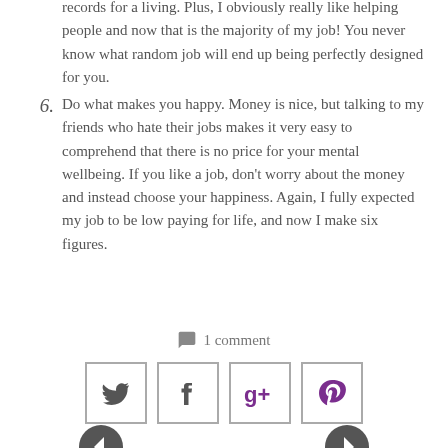records for a living. Plus, I obviously really like helping people and now that is the majority of my job! You never know what random job will end up being perfectly designed for you.
6. Do what makes you happy. Money is nice, but talking to my friends who hate their jobs makes it very easy to comprehend that there is no price for your mental wellbeing. If you like a job, don't worry about the money and instead choose your happiness. Again, I fully expected my job to be low paying for life, and now I make six figures.
💬 1 comment
[Figure (infographic): Four social sharing buttons: Twitter bird icon, Facebook f icon, Google+ g+ icon, Pinterest p icon — each in a square border.]
[Figure (other): Navigation arrows: two circular nav buttons at bottom of page.]